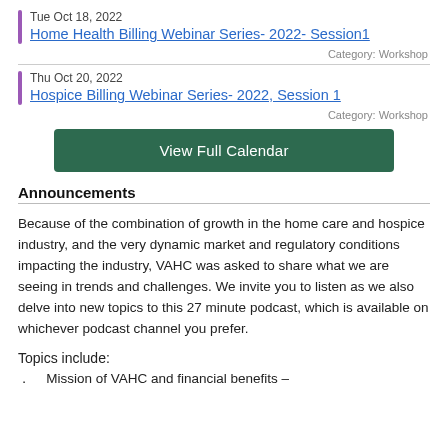Tue Oct 18, 2022
Home Health Billing Webinar Series- 2022- Session1
Category: Workshop
Thu Oct 20, 2022
Hospice Billing Webinar Series- 2022, Session 1
Category: Workshop
[Figure (other): Green button labeled 'View Full Calendar']
Announcements
Because of the combination of growth in the home care and hospice industry, and the very dynamic market and regulatory conditions impacting the industry, VAHC was asked to share what we are seeing in trends and challenges. We invite you to listen as we also delve into new topics to this 27 minute podcast, which is available on whichever podcast channel you prefer.
Topics include:
Mission of VAHC and financial benefits –